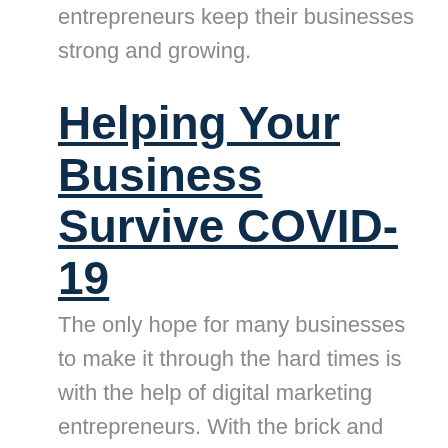entrepreneurs keep their businesses strong and growing.
Helping Your Business Survive COVID-19
The only hope for many businesses to make it through the hard times is with the help of digital marketing entrepreneurs. With the brick and mortar buildings having to close their doors, the